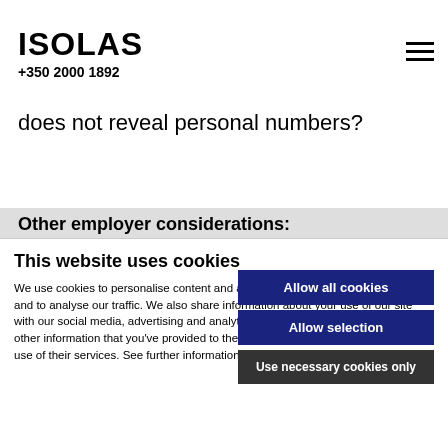ISOLAS +350 2000 1892
extent you can justify this. Is it also possible communications or find alternative method or communicating that
does not reveal personal numbers?
Other employer considerations:
This website uses cookies
We use cookies to personalise content and ads, to provide social media features and to analyse our traffic. We also share information about your use of our site with our social media, advertising and analytics partners who may combine it with other information that you've provided to them or that they've collected from your use of their services. See further information in our Cookie Policy.
Allow all cookies
Allow selection
Use necessary cookies only
Necessary  Preferences  Statistics  Marketing  Show details